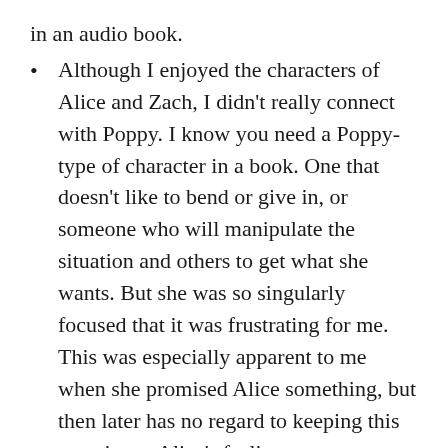in an audio book.
Although I enjoyed the characters of Alice and Zach, I didn't really connect with Poppy. I know you need a Poppy-type of character in a book. One that doesn't like to bend or give in, or someone who will manipulate the situation and others to get what she wants. But she was so singularly focused that it was frustrating for me. This was especially apparent to me when she promised Alice something, but then later has no regard to keeping this promise or Alice's feelings or concerns regarding the matter.
In the end, I'd love to say this Newberry Honor book was a winner for me too, but it just didn't work for me. It was just too much drama and not enough of a spooky